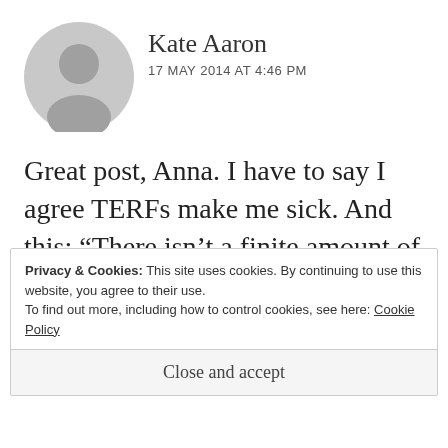[Figure (illustration): Circular grey avatar placeholder with a silhouette of a person head and shoulders]
Kate Aaron
17 MAY 2014 AT 4:46 PM
Great post, Anna. I have to say I agree TERFs make me sick. And this: “There isn’t a finite amount of “equality” out there in the world.” So many times I see people drawing lines like equality can’t be
Privacy & Cookies: This site uses cookies. By continuing to use this website, you agree to their use.
To find out more, including how to control cookies, see here: Cookie Policy
Close and accept